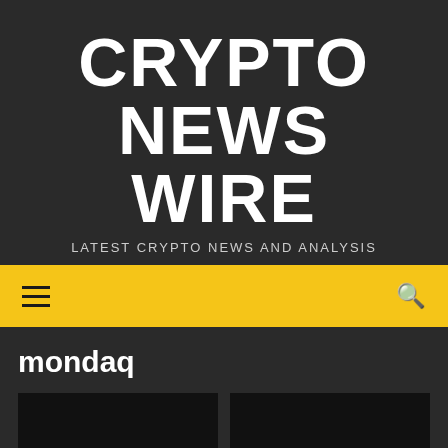CRYPTO NEWS WIRE
LATEST CRYPTO NEWS AND ANALYSIS
[Figure (other): Yellow navigation bar with hamburger menu icon on the left and search icon on the right]
mondaq
[Figure (other): Two dark image card placeholders side by side, with a cyan scroll-to-top button in the bottom right of the right card]